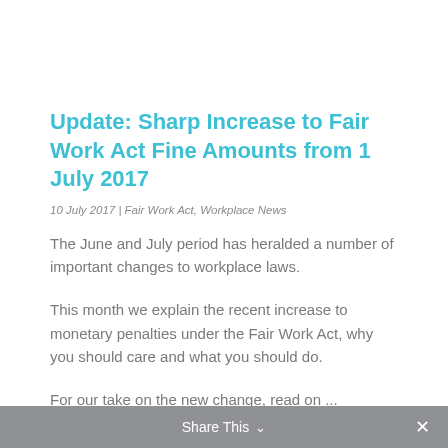Update: Sharp Increase to Fair Work Act Fine Amounts from 1 July 2017
10 July 2017 | Fair Work Act, Workplace News
The June and July period has heralded a number of important changes to workplace laws.
This month we explain the recent increase to monetary penalties under the Fair Work Act, why you should care and what you should do.
For our take on the new change, read on ...
READ MORE
Share This ∨  ✕